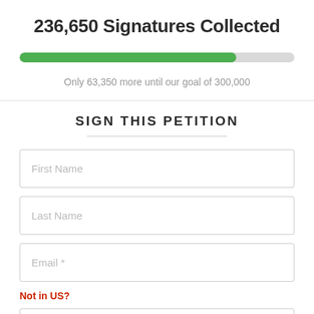236,650 Signatures Collected
[Figure (other): Horizontal progress bar showing approximately 78.9% completion (236,650 of 300,000 signatures). Green filled portion on left, gray unfilled portion on right.]
Only 63,350 more until our goal of 300,000
SIGN THIS PETITION
First Name
Last Name
Email *
Not in US?